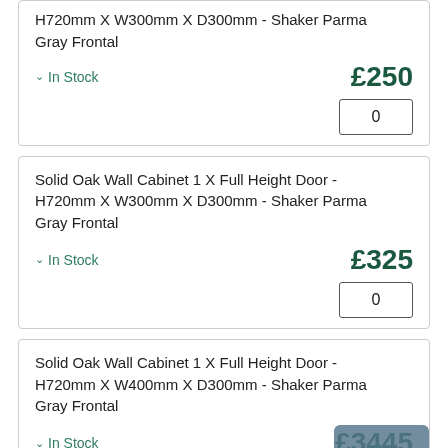H720mm X W300mm X D300mm - Shaker Parma Gray Frontal
In Stock
£250
Solid Oak Wall Cabinet 1 X Full Height Door - H720mm X W300mm X D300mm - Shaker Parma Gray Frontal
In Stock
£325
Solid Oak Wall Cabinet 1 X Full Height Door - H720mm X W400mm X D300mm - Shaker Parma Gray Frontal
In Stock
£345
Solid Oak Wall Cabinet 1 X Full Height Door